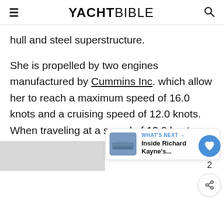YACHTBIBLE
hull and steel superstructure.
She is propelled by two engines manufactured by Cummins Inc. which allow her to reach a maximum speed of 16.0 knots and a cruising speed of 12.0 knots. When traveling at a speed of 12.0 knots, the yacht has a range of 12.0 nm/20000 nm nautical miles.
WHAT'S NEXT → Inside Richard Kayne's...